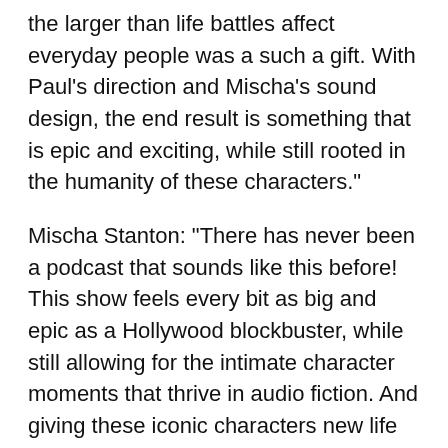the larger than life battles affect everyday people was a such a gift. With Paul's direction and Mischa's sound design, the end result is something that is epic and exciting, while still rooted in the humanity of these characters."
Mischa Stanton: "There has never been a podcast that sounds like this before! This show feels every bit as big and epic as a Hollywood blockbuster, while still allowing for the intimate character moments that thrive in audio fiction. And giving these iconic characters new life in a new medium gave us the opportunity to explore sides of them we don't get to see on the page or on the screen. I'm excited to show off just what audio can really do!"
Jennifer Manel: "To celebrate the 25th anniversary of the acclaimed comic book, MARVELS by Kurt Busiek and Alex Ross, we're very excited to release a scripted audio series that focuses on the chapter where the Fantastic Four go up against Galactus.